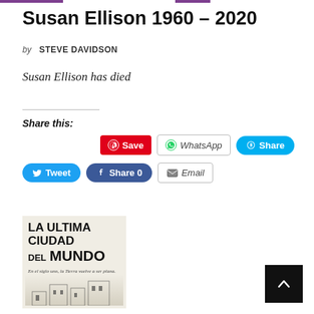Susan Ellison 1960 – 2020
by STEVE DAVIDSON
Susan Ellison has died
Share this:
[Figure (screenshot): Social share buttons: Save (Pinterest), WhatsApp, Share (Skype), Tweet (Twitter), Share 0 (Facebook), Email]
[Figure (photo): Book cover: LA ULTIMA CIUDAD DEL MUNDO]
[Figure (other): Back to top button (black square with white chevron up arrow)]